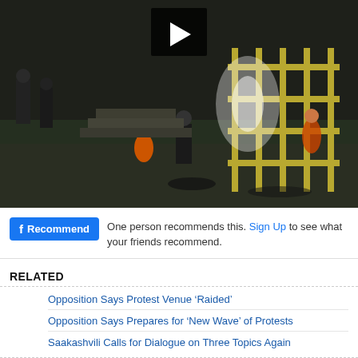[Figure (screenshot): Video still from surveillance/news footage showing people near scaffolding or steps outdoors at night. A play button overlay is visible in the upper center of the video frame.]
One person recommends this. Sign Up to see what your friends recommend.
RELATED
Opposition Says Protest Venue ‘Raided’
Opposition Says Prepares for ‘New Wave’ of Protests
Saakashvili Calls for Dialogue on Three Topics Again
About Civil Georgia
Civil.Ge © 2001-2022, Daily News Online
Registered office: 2 Dolidze Str, 4-th Floor.